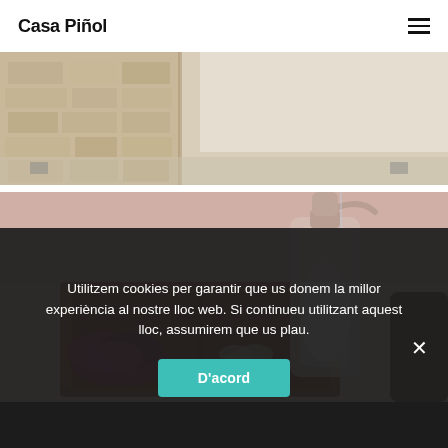Casa Piñol
[Figure (photo): Outdoor stone building exterior with street view, bright daylight, stone walls and pavement visible.]
[Figure (photo): Close-up of a wooden tray with bathroom amenities: a soap dispenser, small stones, and dried rose petals on a pink surface.]
Utilitzem cookies per garantir que us donem la millor experiència al nostre lloc web. Si continueu utilitzant aquest lloc, assumirem que us plau.
D'acord